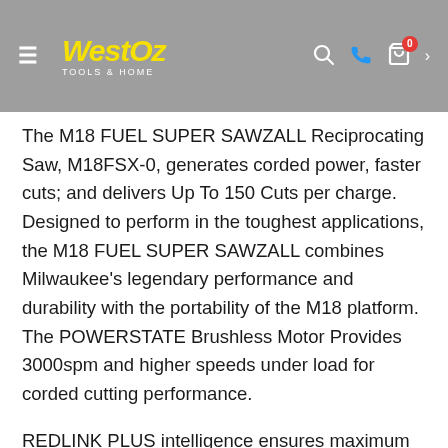WestOz Tools & Home
The M18 FUEL SUPER SAWZALL Reciprocating Saw, M18FSX-0, generates corded power, faster cuts; and delivers Up To 150 Cuts per charge. Designed to perform in the toughest applications, the M18 FUEL SUPER SAWZALL combines Milwaukee's legendary performance and durability with the portability of the M18 platform. The POWERSTATE Brushless Motor Provides 3000spm and higher speeds under load for corded cutting performance.
REDLINK PLUS intelligence ensures maximum performance and protection from overload, overheating and over discharge. The 32mm stroke length removes more material with each stroke and On/Off Orbital action